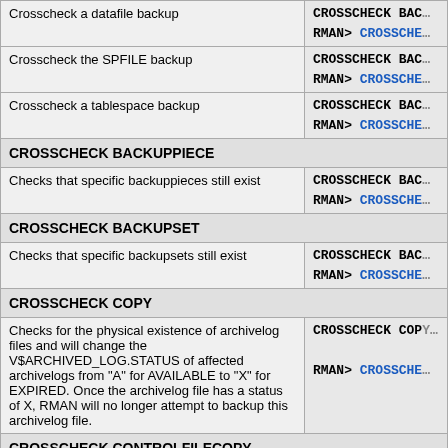| Description | Syntax / Command |
| --- | --- |
| Crosscheck a datafile backup | CROSSCHECK BAC...
RMAN> CROSSCHE... |
| Crosscheck the SPFILE backup | CROSSCHECK BAC...
RMAN> CROSSCHE... |
| Crosscheck a tablespace backup | CROSSCHECK BAC...
RMAN> CROSSCHE... |
| CROSSCHECK BACKUPPIECE |  |
| Checks that specific backuppieces still exist | CROSSCHECK BAC...
RMAN> CROSSCHE... |
| CROSSCHECK BACKUPSET |  |
| Checks that specific backupsets still exist | CROSSCHECK BAC...
RMAN> CROSSCHE... |
| CROSSCHECK COPY |  |
| Checks for the physical existence of archivelog files and will change the V$ARCHIVED_LOG.STATUS of affected archivelogs from "A" for AVAILABLE to "X" for EXPIRED. Once the archivelog file has a status of X, RMAN will no longer attempt to backup this archivelog file. | CROSSCHECK COPY
RMAN> CROSSCHE... |
| CROSSCHECK CONTROLFILECOPY |  |
| Checks that specific controlfile copies still exist | CROSSCHECK CONT... |